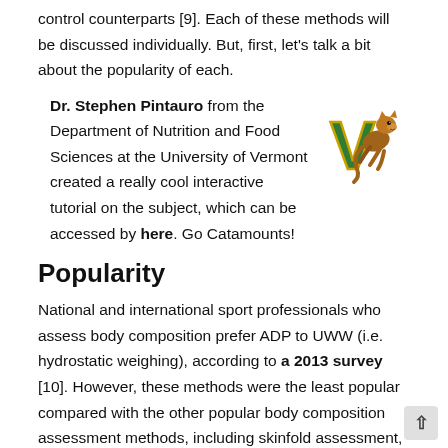control counterparts [9]. Each of these methods will be discussed individually. But, first, let's talk a bit about the popularity of each.
Dr. Stephen Pintauro from the Department of Nutrition and Food Sciences at the University of Vermont created a really cool interactive tutorial on the subject, which can be accessed by here. Go Catamounts!
[Figure (logo): University of Vermont Catamounts mascot logo — a catamount character leaping next to a green letter V]
Popularity
National and international sport professionals who assess body composition prefer ADP to UWW (i.e. hydrostatic weighing), according to a 2013 survey [10]. However, these methods were the least popular compared with the other popular body composition assessment methods, including skinfold assessment, bioelectrical impedance analysis (BIA), and dual energy x-ray absorptiometry (DXA) . These results are unsurprising, given that ADP and UWW both require expensive